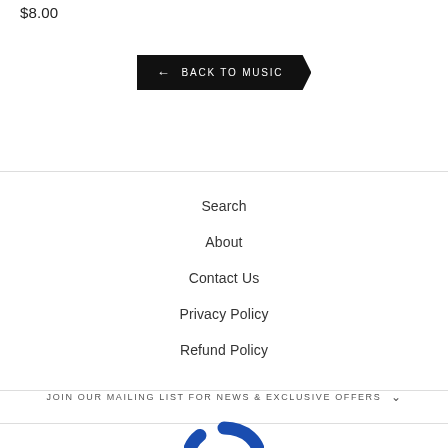$8.00
← BACK TO MUSIC
Search
About
Contact Us
Privacy Policy
Refund Policy
JOIN OUR MAILING LIST FOR NEWS & EXCLUSIVE OFFERS
[Figure (logo): Letter G logo with blue circular arrow and red G letter, resembling a music label or brand logo]